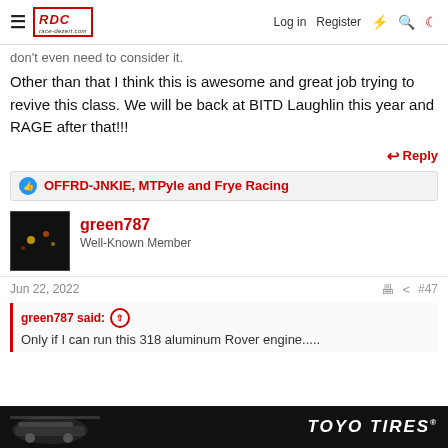race-dezert.com | Log in | Register
don't even need to consider it.
Other than that I think this is awesome and great job trying to revive this class. We will be back at BITD Laughlin this year and RAGE after that!!!
Reply
OFFRD-JNKIE, MTPyle and Frye Racing
green787
Well-Known Member
Jun 22, 2022
#47
green787 said:
Only if I can run this 318 aluminum Rover engine.....
[Figure (photo): Toyo Tires advertisement banner with dark background showing an off-road truck]